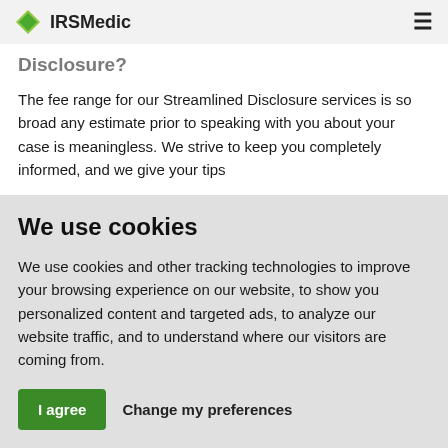IRSMedic
Disclosure?
The fee range for our Streamlined Disclosure services is so broad any estimate prior to speaking with you about your case is meaningless. We strive to keep you completely informed, and we give your tips
We use cookies
We use cookies and other tracking technologies to improve your browsing experience on our website, to show you personalized content and targeted ads, to analyze our website traffic, and to understand where our visitors are coming from.
I agree  Change my preferences